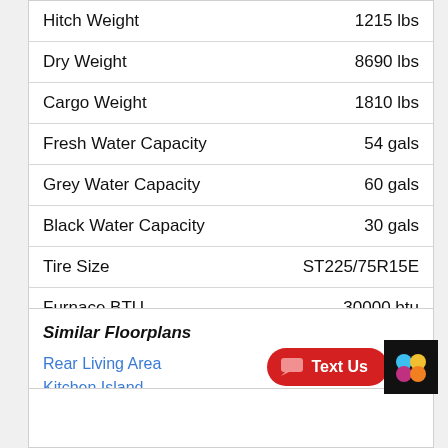| Specification | Value |
| --- | --- |
| Hitch Weight | 1215 lbs |
| Dry Weight | 8690 lbs |
| Cargo Weight | 1810 lbs |
| Fresh Water Capacity | 54 gals |
| Grey Water Capacity | 60 gals |
| Black Water Capacity | 30 gals |
| Tire Size | ST225/75R15E |
| Furnace BTU | 30000 btu |
| Available Beds | King |
Similar Floorplans
Rear Living Area
Kitchen Island
Front Bedroom